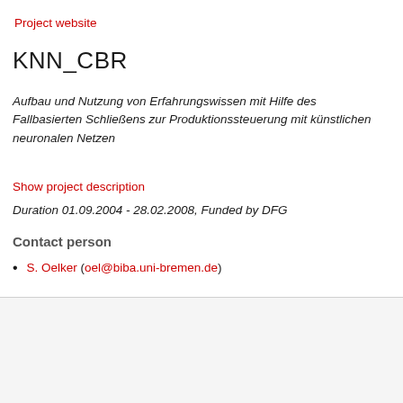Project website
KNN_CBR
Aufbau und Nutzung von Erfahrungswissen mit Hilfe des Fallbasierten Schließens zur Produktionssteuerung mit künstlichen neuronalen Netzen
Show project description
Duration 01.09.2004 - 28.02.2008, Funded by DFG
Contact person
S. Oelker (oel@biba.uni-bremen.de)
[Figure (logo): PRIME colorful toy blocks logo with text Play Well Learn Fast]